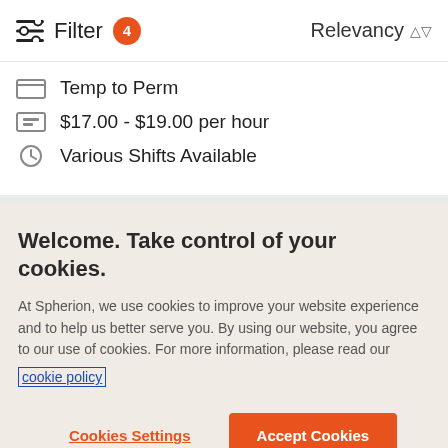Filter 4  Relevancy
Temp to Perm
$17.00 - $19.00 per hour
Various Shifts Available
Welcome. Take control of your cookies.
At Spherion, we use cookies to improve your website experience and to help us better serve you. By using our website, you agree to our use of cookies. For more information, please read our cookie policy
Cookies Settings
Accept Cookies